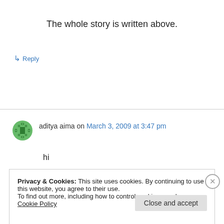The whole story is written above.
↳ Reply
aditya aima on March 3, 2009 at 3:47 pm
hi
Privacy & Cookies: This site uses cookies. By continuing to use this website, you agree to their use.
To find out more, including how to control cookies, see here: Cookie Policy